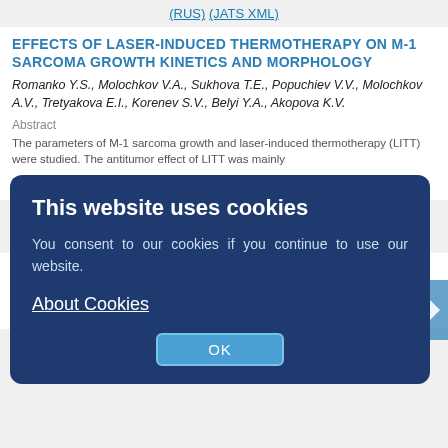(RUS) (JATS XML)
EFFECTS OF LASER-INDUCED THERMOTHERAPY ON M-1 SARCOMA GROWTH KINETICS AND MORPHOLOGY
Romanko Y.S., Molochkov V.A., Sukhova T.E., Popuchiev V.V., Molochkov A.V., Tretyakova E.I., Korenev S.V., Belyi Y.A., Akopova K.V.
Abstract
The parameters of M-1 sarcoma growth and laser-induced thermotherapy (LITT) were studied. The antitumor effect of LITT was mainly
Russian Journal of Skin and Venereal Diseases. 2012;15(3):58-60
58-60
(RUS) (JATS XML)
This website uses cookies
You consent to our cookies if you continue to use our website.
About Cookies
OK
The mysteries of William Blake
Monakhov S.A.
Russian Journal of Skin and Venereal Diseases. 2012;15(3):61-61